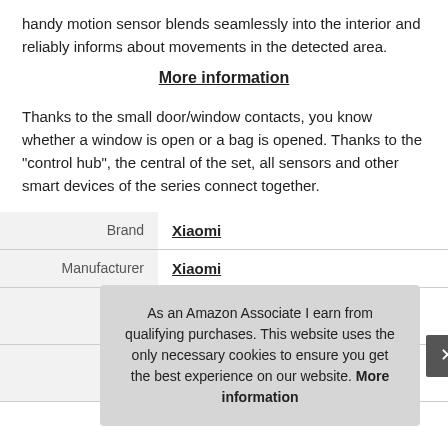handy motion sensor blends seamlessly into the interior and reliably informs about movements in the detected area.
More information
Thanks to the small door/window contacts, you know whether a window is open or a bag is opened. Thanks to the "control hub", the central of the set, all sensors and other smart devices of the series connect together.
|  |  |
| --- | --- |
| Brand | Xiaomi |
| Manufacturer | Xiaomi |
As an Amazon Associate I earn from qualifying purchases. This website uses the only necessary cookies to ensure you get the best experience on our website. More information